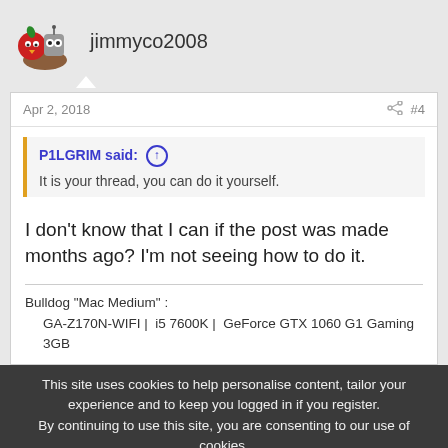jimmyco2008
Apr 2, 2018  #4
P1LGRIM said: ↑
It is your thread, you can do it yourself.
I don't know that I can if the post was made months ago? I'm not seeing how to do it.
Bulldog "Mac Medium" :
    GA-Z170N-WIFI |  i5 7600K |  GeForce GTX 1060 G1 Gaming 3GB
This site uses cookies to help personalise content, tailor your experience and to keep you logged in if you register.
By continuing to use this site, you are consenting to our use of cookies.